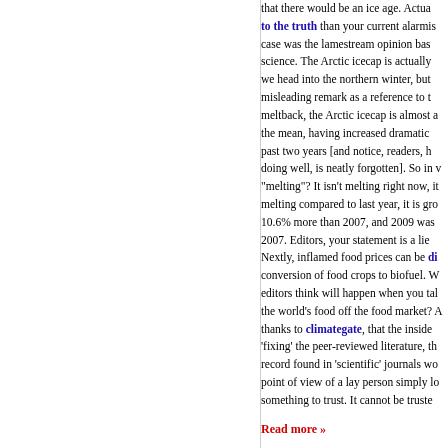that there would be an ice age. Actual... to the truth than your current alarmis... case was the lamestream opinion bas... science. The Arctic icecap is actually... we head into the northern winter, but... misleading remark as a reference to t... meltback, the Arctic icecap is almost a... the mean, having increased dramatic... past two years [and notice, readers, h... doing well, is neatly forgotten]. So in ... "melting"? It isn't melting right now, it... melting compared to last year, it is gro... 10.6% more than 2007, and 2009 was... 2007. Editors, your statement is a lie... Nextly, inflamed food prices can be di... conversion of food crops to biofuel. W... editors think will happen when you tal... the world's food off the food market? ... thanks to climategate, that the inside... 'fixing' the peer-reviewed literature, th... record found in 'scientific' journals wo... point of view of a lay person simply lo... something to trust. It cannot be truste...
Read more »